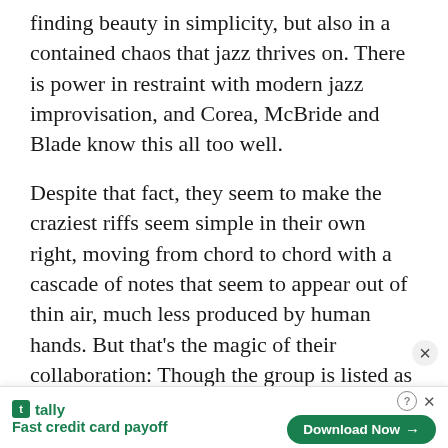finding beauty in simplicity, but also in a contained chaos that jazz thrives on. There is power in restraint with modern jazz improvisation, and Corea, McBride and Blade know this all too well.
Despite that fact, they seem to make the craziest riffs seem simple in their own right, moving from chord to chord with a cascade of notes that seem to appear out of thin air, much less produced by human hands. But that's the magic of their collaboration: Though the group is listed as the Chick Corea Trio, they could easily be the Christian
[Figure (other): Advertisement banner for Tally app: 'Fast credit card payoff' with a 'Download Now' button, help icon, and close button.]